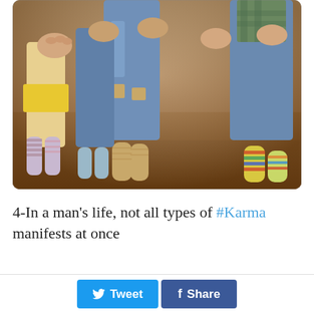[Figure (photo): Group of people sitting together wearing colorful socks — striped and knitted — while their legs dangle. Jeans visible, some with ripped knees. Wooden floor background.]
4-In a man's life, not all types of #Karma manifests at once
Tweet   Share